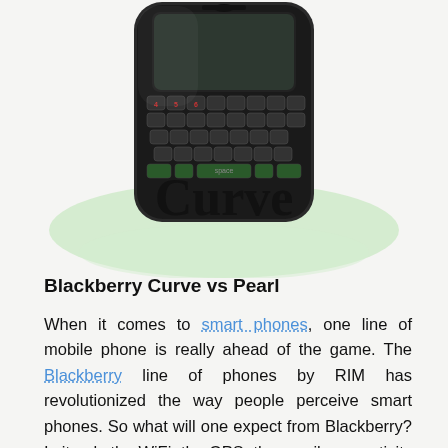[Figure (photo): Photo of a BlackBerry Curve smartphone showing the QWERTY keyboard, with a green reflection/background and the word 'Curve' overlaid in large bold text across the lower portion of the phone image.]
Blackberry Curve vs Pearl
When it comes to smart phones, one line of mobile phone is really ahead of the game. The Blackberry line of phones by RIM has revolutionized the way people perceive smart phones. So what will one expect from Blackberry? Is it only the WiFi, the GPS, the email connectivity or the full keyboard functionality? Nevertheless, newer models of this phone brand are setting the benchmark for its competitors. Two of these are the Curve and the